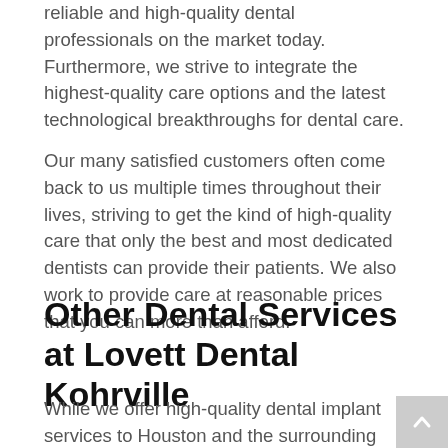reliable and high-quality dental professionals on the market today. Furthermore, we strive to integrate the highest-quality care options and the latest technological breakthroughs for dental care.
Our many satisfied customers often come back to us multiple times throughout their lives, striving to get the kind of high-quality care that only the best and most dedicated dentists can provide their patients. We also work to provide care at reasonable prices that you can more than afford.
Other Dental Services at Lovett Dental Kohrville
While we offer high-quality dental implant services to Houston and the surrounding area, we also